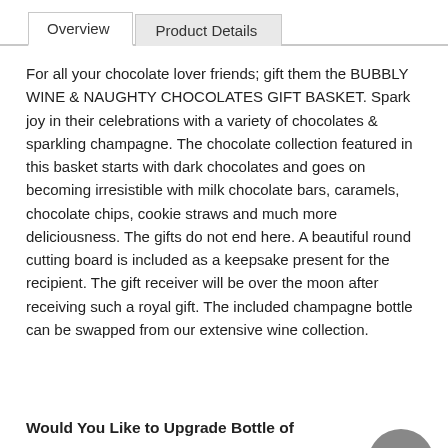Overview | Product Details
For all your chocolate lover friends; gift them the BUBBLY WINE & NAUGHTY CHOCOLATES GIFT BASKET. Spark joy in their celebrations with a variety of chocolates & sparkling champagne. The chocolate collection featured in this basket starts with dark chocolates and goes on becoming irresistible with milk chocolate bars, caramels, chocolate chips, cookie straws and much more deliciousness. The gifts do not end here. A beautiful round cutting board is included as a keepsake present for the recipient. The gift receiver will be over the moon after receiving such a royal gift. The included champagne bottle can be swapped from our extensive wine collection.
[Figure (illustration): Gray circular chat bubble icon with three dots]
Would You Like to Upgrade Bottle of